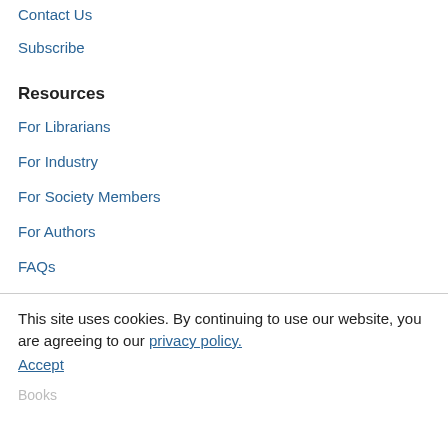Contact Us
Subscribe
Resources
For Librarians
For Industry
For Society Members
For Authors
FAQs
This site uses cookies. By continuing to use our website, you are agreeing to our privacy policy. Accept